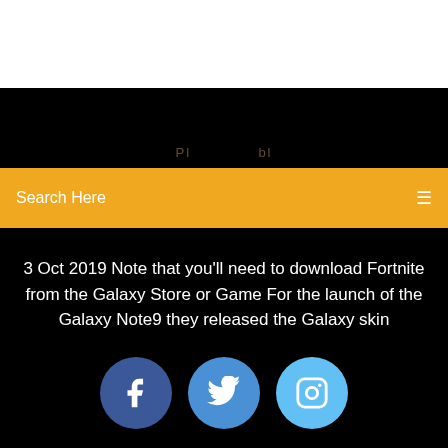[Figure (screenshot): White top area, part of a webpage screenshot]
[Figure (screenshot): Black navigation band with faint partially visible text]
Search Here
3 Oct 2019 Note that you'll need to download Fortnite from the Galaxy Store or Game For the launch of the Galaxy Note9 they released the Galaxy skin
[Figure (infographic): Three social media icons: Facebook (dark blue circle with f), Twitter (medium blue circle with bird), Instagram (light blue circle with camera)]